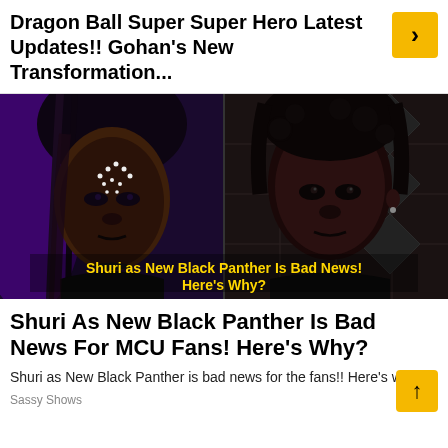Dragon Ball Super Super Hero Latest Updates!! Gohan's New Transformation...
[Figure (photo): Composite image of two characters: left side shows a young woman with braided hair and face dots in Black Panther costume with purple lighting; right side shows another young person with curly hair against a dark patterned background. Yellow bold text overlay reads: 'Shuri as New Black Panther Is Bad News! Here's Why?']
Shuri As New Black Panther Is Bad News For MCU Fans! Here's Why?
Shuri as New Black Panther is bad news for the fans!! Here's why?
Sassy Shows